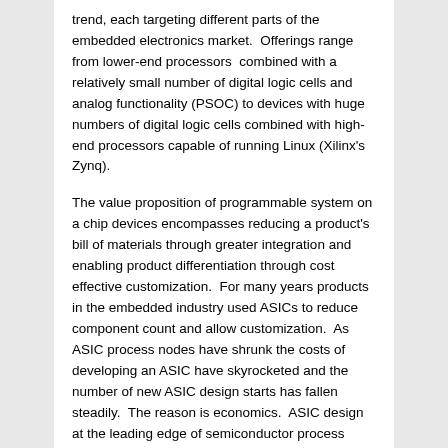trend, each targeting different parts of the embedded electronics market.  Offerings range from lower-end processors  combined with a relatively small number of digital logic cells and analog functionality (PSOC) to devices with huge numbers of digital logic cells combined with high-end processors capable of running Linux (Xilinx's Zynq).
The value proposition of programmable system on a chip devices encompasses reducing a product's bill of materials through greater integration and enabling product differentiation through cost effective customization.  For many years products in the embedded industry used ASICs to reduce component count and allow customization.  As ASIC process nodes have shrunk the costs of developing an ASIC have skyrocketed and the number of new ASIC design starts has fallen steadily.  The reason is economics.  ASIC design at the leading edge of semiconductor process technology is very expensive.  ASIC development costs can run upwards of $40 million.  If we use a typical business model where around 20% of